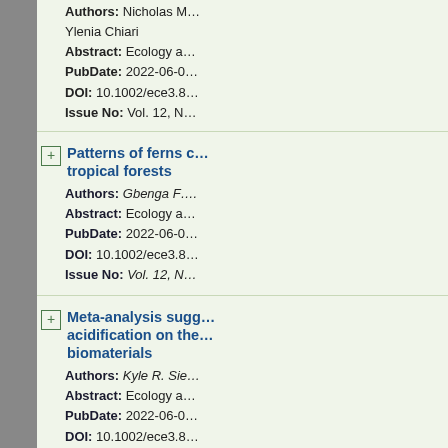Authors: Nicholas M... Ylenia Chiari
Abstract: Ecology a...
PubDate: 2022-06-0...
DOI: 10.1002/ece3.8...
Issue No: Vol. 12, N...
Patterns of ferns c... tropical forests
Authors: Gbenga F....
Abstract: Ecology a...
PubDate: 2022-06-0...
DOI: 10.1002/ece3.8...
Issue No: Vol. 12, N...
Meta-analysis sugg... acidification on the... biomaterials
Authors: Kyle R. Sie...
Abstract: Ecology a...
PubDate: 2022-06-0...
DOI: 10.1002/ece3.8...
Issue No: Vol. 12, N...
A consensus view o...
Authors: Andrew J....
Abstract: Ecology a...
PubDate: 2022-06-...